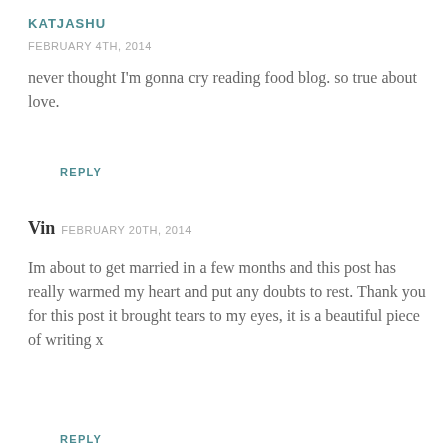KATJASHU
FEBRUARY 4TH, 2014
never thought I'm gonna cry reading food blog. so true about love.
REPLY
Vin FEBRUARY 20TH, 2014
Im about to get married in a few months and this post has really warmed my heart and put any doubts to rest. Thank you for this post it brought tears to my eyes, it is a beautiful piece of writing x
REPLY